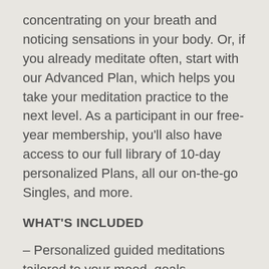concentrating on your breath and noticing sensations in your body. Or, if you already meditate often, start with our Advanced Plan, which helps you take your meditation practice to the next level. As a participant in our free-year membership, you'll also have access to our full library of 10-day personalized Plans, all our on-the-go Singles, and more.
WHAT'S INCLUDED
– Personalized guided meditations tailored to your mood, goals, experience, and more
– 10-day Plans to help you develop and deepen your meditation skills